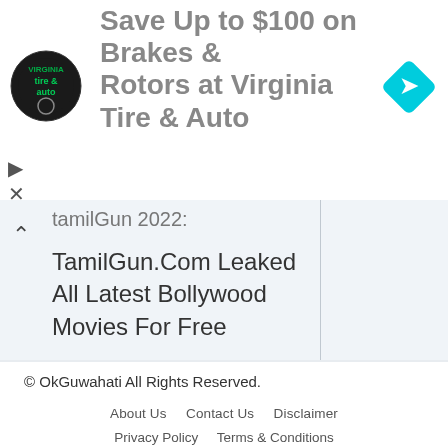[Figure (screenshot): Advertisement banner for Virginia Tire & Auto: Save Up to $100 on Brakes & Rotors. Shows Virginia Tire & Auto circular logo on left, blue navigation arrow icon on right, with play and close controls.]
tamilGun 2022:
TamilGun.Com Leaked All Latest Bollywood Movies For Free
© OkGuwahati All Rights Reserved.
About Us   Contact Us   Disclaimer   Privacy Policy   Terms & Conditions